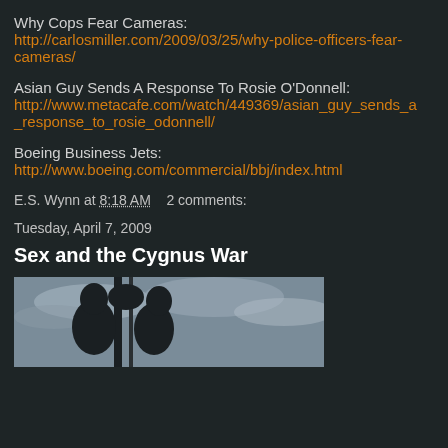Why Cops Fear Cameras:
http://carlosmiller.com/2009/03/25/why-police-officers-fear-cameras/
Asian Guy Sends A Response To Rosie O'Donnell:
http://www.metacafe.com/watch/449369/asian_guy_sends_a_response_to_rosie_odonnell/
Boeing Business Jets:
http://www.boeing.com/commercial/bbj/index.html
E.S. Wynn at 8:18 AM    2 comments:
Tuesday, April 7, 2009
Sex and the Cygnus War
[Figure (photo): Silhouette of two people kissing against a cloudy sky background]